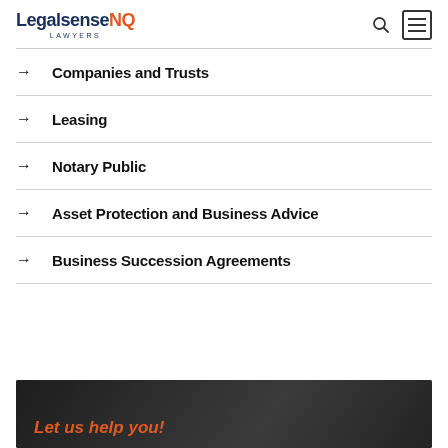LegalsenseNQ LAWYERS
Companies and Trusts
Leasing
Notary Public
Asset Protection and Business Advice
Business Succession Agreements
[Figure (photo): Dark architectural background with orange text 'Let us help you!']